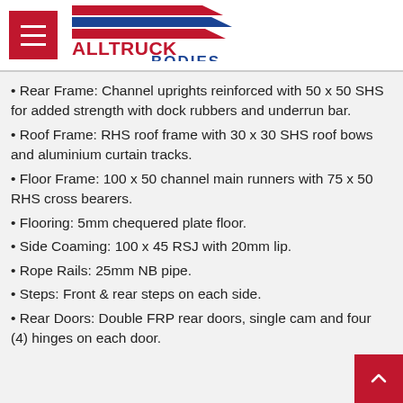[Figure (logo): Alltruck Bodies logo with red and blue chevron/stripe graphic above text ALLTRUCK BODIES in red and blue]
Rear Frame: Channel uprights reinforced with 50 x 50 SHS for added strength with dock rubbers and underrun bar.
Roof Frame: RHS roof frame with 30 x 30 SHS roof bows and aluminium curtain tracks.
Floor Frame: 100 x 50 channel main runners with 75 x 50 RHS cross bearers.
Flooring: 5mm chequered plate floor.
Side Coaming: 100 x 45 RSJ with 20mm lip.
Rope Rails: 25mm NB pipe.
Steps: Front & rear steps on each side.
Rear Doors: Double FRP rear doors, single cam and four (4) hinges on each door.